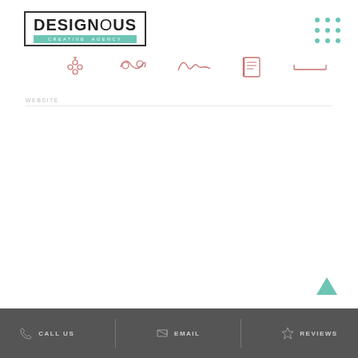[Figure (logo): Designous Creative Agency logo in a rectangular border with teal subtitle bar]
[Figure (infographic): 3x3 grid of teal dots in top right corner]
[Figure (infographic): Five decorative pink/rose icons in a row: floral, swirl, wave, book/tablet, bracket]
WEBSITE
[Figure (infographic): Teal upward-pointing triangle (back to top button)]
CALL US   EMAIL   REVIEWS